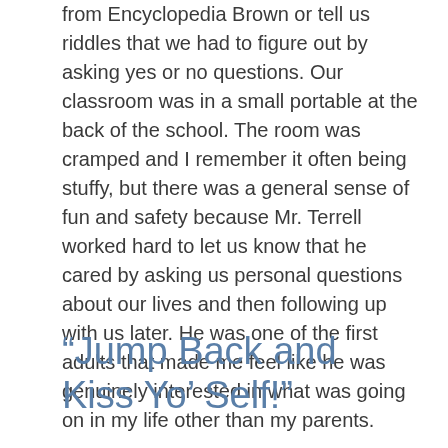from Encyclopedia Brown or tell us riddles that we had to figure out by asking yes or no questions. Our classroom was in a small portable at the back of the school. The room was cramped and I remember it often being stuffy, but there was a general sense of fun and safety because Mr. Terrell worked hard to let us know that he cared by asking us personal questions about our lives and then following up with us later. He was one of the first adults that made me feel like he was genuinely interested in what was going on in my life other than my parents.
“Jump Back and Kiss Yo’ Self!”